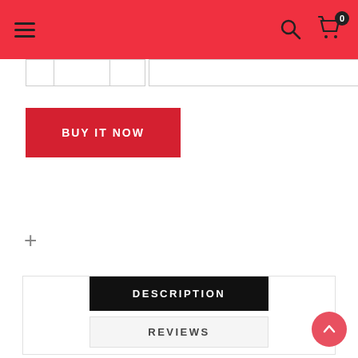Navigation header with hamburger menu, search icon, and cart icon (0 items)
[Figure (screenshot): Tab/breadcrumb boxes row with 4 boxes]
BUY IT NOW
+
DESCRIPTION
REVIEWS